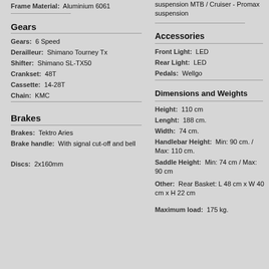Frame Material: Aluminium 6061
Suspension: Ohlins - Promax suspension MTB / Cruiser - Promax suspension
Gears
Gears: 6 Speed
Derailleur: Shimano Tourney Tx
Shifter: Shimano SL-TX50
Crankset: 48T
Cassette: 14-28T
Chain: KMC
Accessories
Front Light: LED
Rear Light: LED
Pedals: Wellgo
Brakes
Brakes: Tektro Aries
Brake handle: With signal cut-off and bell
Discs: 2x160mm
Dimensions and Weights
Height: 110 cm
Lenght: 188 cm.
Width: 74 cm.
Handlebar Height: Min: 90 cm. / Max: 110 cm.
Saddle Height: Min: 74 cm / Max: 90 cm
Other: Rear Basket: L 48 cm x W 40 cm x H 22 cm
Maximum load: 175 kg.